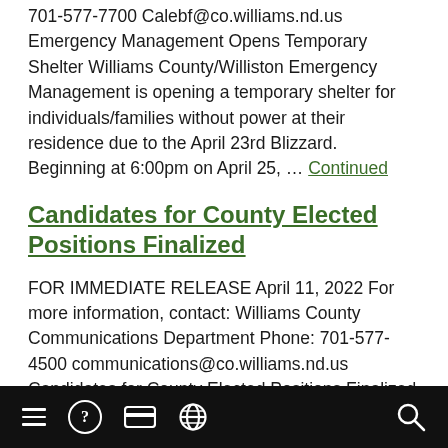701-577-7700 Calebf@co.williams.nd.us Emergency Management Opens Temporary Shelter Williams County/Williston Emergency Management is opening a temporary shelter for individuals/families without power at their residence due to the April 23rd Blizzard. Beginning at 6:00pm on April 25, … Continued
Candidates for County Elected Positions Finalized
FOR IMMEDIATE RELEASE April 11, 2022 For more information, contact: Williams County Communications Department Phone: 701-577-4500 communications@co.williams.nd.us Candidates for County Elected Positions Finalized Williston, N.D., (April 11, 2022) – Williams County Auditor Beth Innis released a list of candidates who filed petitions to have their names placed
Navigation footer bar with menu, help, payment, language, and search icons